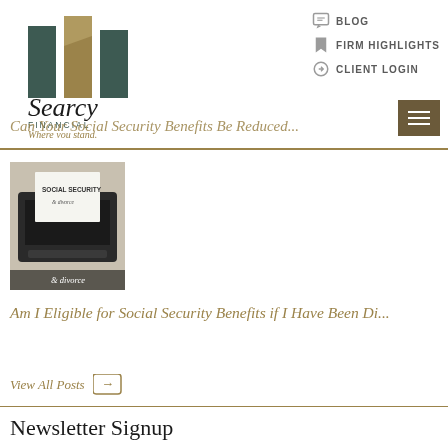[Figure (logo): Searcy Financial logo with three stylized columns in dark teal and gold colors, company name and tagline 'Where you stand.']
BLOG | FIRM HIGHLIGHTS | CLIENT LOGIN
Can Your Social Security Benefits Be Reduced...
[Figure (photo): Black and white photo of a typewriter with paper reading 'SOCIAL SECURITY & divorce']
Am I Eligible for Social Security Benefits if I Have Been Di...
View All Posts →
Newsletter Signup